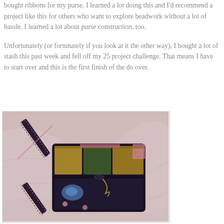bought ribbons for my purse. I learned a lot doing this and I'd recommend a project like this for others who want to explore beadwork without a lot of hassle. I learned a lot about purse construction, too.
Unfortunately (or fortunately if you look at it the other way), I bought a lot of stash this past week and fell off my 25 project challenge. That means I have to start over and this is the first finish of the do over.
[Figure (photo): A decorative beaded/embroidered crossbody purse with a shoulder strap, laid on a marble surface. The bag features colorful patchwork patterns including paisley and floral designs in purple, blue, gold, and green tones.]